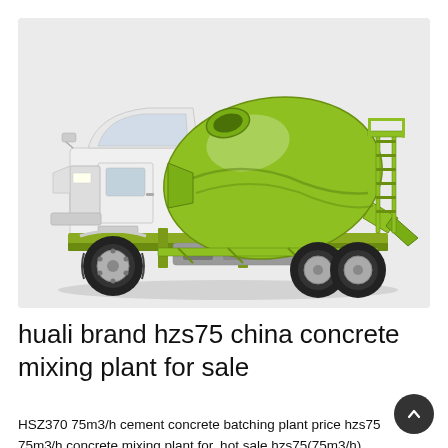[Figure (photo): A green and white concrete mixer truck (transit mixer) on a light gray background. The truck has a white cab and a bright lime-green rotating drum mixer mounted on the back with a ladder and chute.]
huali brand hzs75 china concrete mixing plant for sale
HSZ370 75m3/h cement concrete batching plant price hzs75 75m3/h concrete mixing plant for. hot sale hzs75(75m3/h) concrete batching